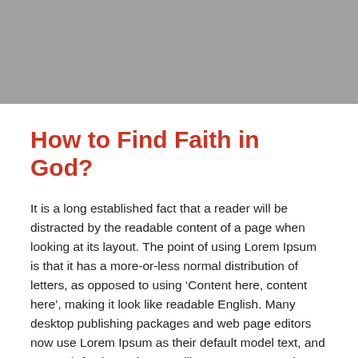[Figure (photo): Gray placeholder image at the top of the page]
How to Find Faith in God?
It is a long established fact that a reader will be distracted by the readable content of a page when looking at its layout. The point of using Lorem Ipsum is that it has a more-or-less normal distribution of letters, as opposed to using ‘Content here, content here’, making it look like readable English. Many desktop publishing packages and web page editors now use Lorem Ipsum as their default model text, and a search for ‘lorem ipsum’ will uncover many web sites still in their infancy.It is a long established fact that a reader will be distracted by the readable content of a page when looking at its layout. The point of using Lorem Ipsum is that it has a more-or-less normal distribution of letters, as opposed to using ‘Content here, content here’, making it look like readable English. Many desktop publishing